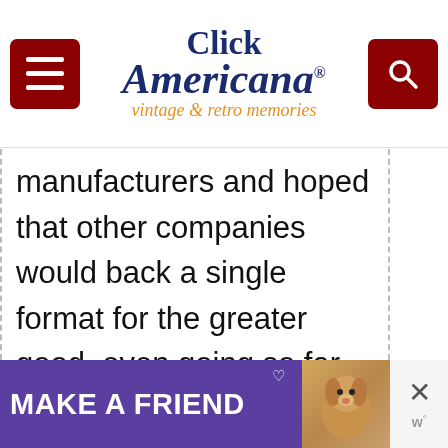Click Americana — vintage & retro memories
manufacturers and hoped that other companies would back a single format for the greater good, even going so far as to appeal to Japan's Ministry of Trade and Industry to enforce Beta as the standard video format. JVC, however, had ideas of their and went ahead with the release
[Figure (screenshot): Advertisement banner: purple background with 'MAKE A FRIEND' text and a dog image]